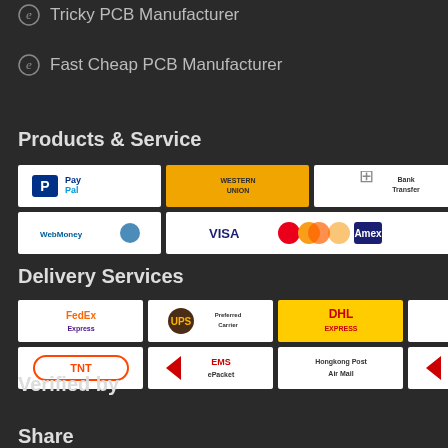Tricky PCB Manufacturer
Fast Cheap PCB Manufacturer
Products & Service
[Figure (logo): Payment method logos: PayPal, Western Union, Bank Transfer, WebMoney, Visa/Mastercard/Amex]
Delivery Services
[Figure (logo): Delivery service logos: FedEx, UPS Preferred Carrier, DHL, China Post Air Mail, TNT, EMS ePacket, Hongkong Post Air Mail, EMS]
Verified by
Share